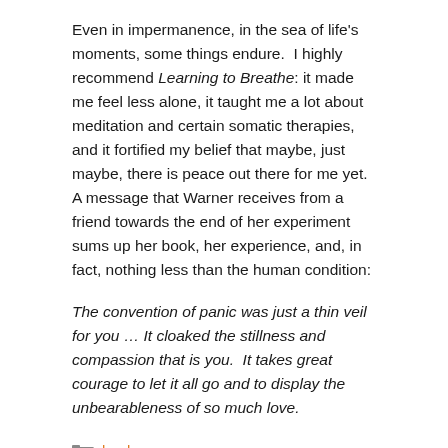Even in impermanence, in the sea of life's moments, some things endure.  I highly recommend Learning to Breathe: it made me feel less alone, it taught me a lot about meditation and certain somatic therapies, and it fortified my belief that maybe, just maybe, there is peace out there for me yet.  A message that Warner receives from a friend towards the end of her experiment sums up her book, her experience, and, in fact, nothing less than the human condition:
The convention of panic was just a thin veil for you … It cloaked the stillness and compassion that is you.  It takes great courage to let it all go and to display the unbearableness of so much love.
books